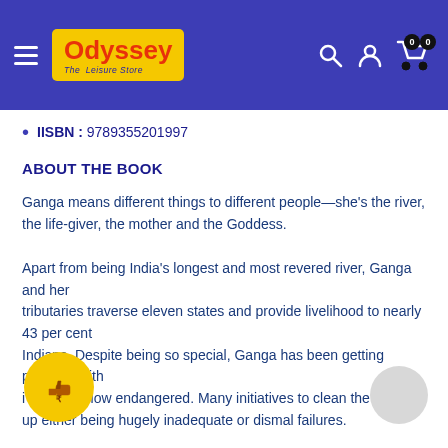Odyssey — The Leisure Store (navigation header)
IISBN : 9789355201997
ABOUT THE BOOK
Ganga means different things to different people—she's the river, the life-giver, the mother and the Goddess.
Apart from being India's longest and most revered river, Ganga and her tributaries traverse eleven states and provide livelihood to nearly 43 per cent Indians. Despite being so special, Ganga has been getting polluted, with its ecology and flow endangered. Many initiatives to clean the river have ended up either being hugely inadequate or dismal failures.